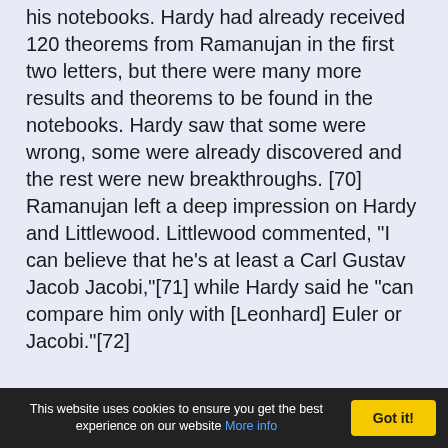his notebooks. Hardy had already received 120 theorems from Ramanujan in the first two letters, but there were many more results and theorems to be found in the notebooks. Hardy saw that some were wrong, some were already discovered and the rest were new breakthroughs. [70] Ramanujan left a deep impression on Hardy and Littlewood. Littlewood commented, "I can believe that he's at least a Carl Gustav Jacob Jacobi,"[71] while Hardy said he "can compare him only with [Leonhard] Euler or Jacobi."[72]
Ramanujan spent nearly five years in Cambridge
This website uses cookies to ensure you get the best experience on our website More info